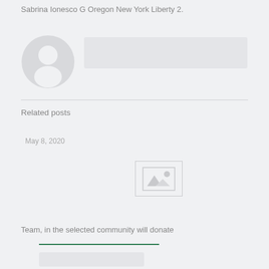Sabrina Ionesco G Oregon New York Liberty 2.
[Figure (illustration): Default user avatar placeholder: gray circle with white person silhouette icon]
[Figure (other): Gray placeholder rectangle bar]
Related posts
May 8, 2020
[Figure (photo): Image placeholder with mountain and sun icon]
Team, in the selected community will donate
[Figure (other): Green underline bar]
[Figure (other): Gray rectangle button/bar at bottom]